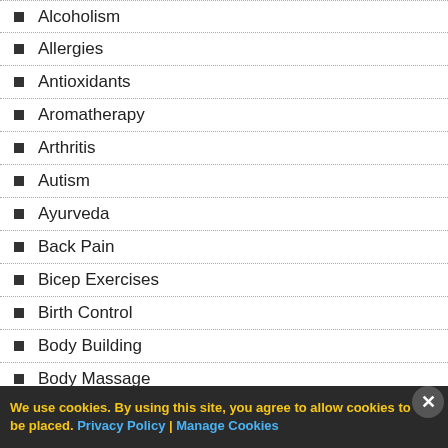Alcoholism
Allergies
Antioxidants
Aromatherapy
Arthritis
Autism
Ayurveda
Back Pain
Bicep Exercises
Birth Control
Body Building
Body Massage
Cancer
We use cookies. By using this site, you agree to allow cookies to be placed. Privacy Policy | Manage Cookies